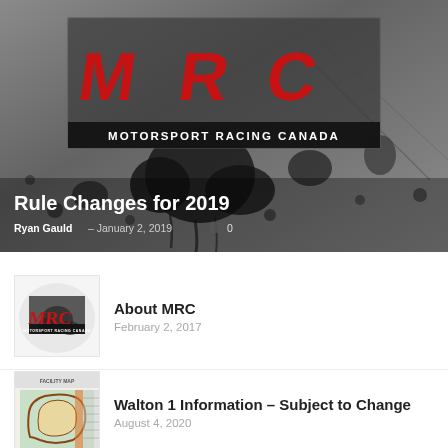[Figure (photo): MRC Motorsport Racing Canada logo on grey splatter background, with hero article overlay showing 'Rule Changes for 2019' title and author/date]
Rule Changes for 2019
Ryan Gauld - January 2, 2019   0
[Figure (logo): MRC Motorsport Racing Canada small logo thumbnail]
About MRC
February 2, 2017
[Figure (map): Walton facility map thumbnail showing track layout]
Walton 1 Information – Subject to Change
August 4, 2020